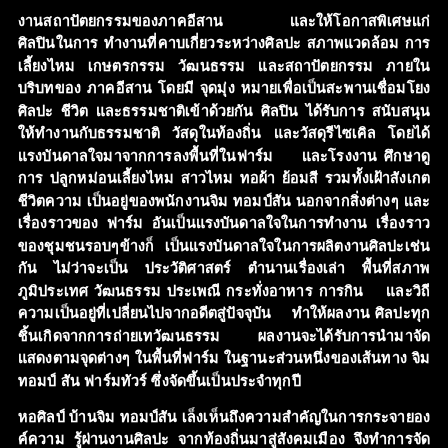งานสถาปัตยกรรมของภาคอีสาน และให้โอกาสพิเศษแก่ศิลปินในการทำงานที่คาบเกี่ยวระหว่างศิลปะ สภาพแวดล้อม การเลี้ยงไหม เกษตรกรรม วัฒนธรรม และสถาปัตยกรรม ภายในบริบทของ ภาคอีสาน โดยมี จุดมุ่งหมายเพื่อเป็นสะพานเชื่อมโยงศิลปะ ชีวิต และธรรมชาติเข้าด้วยกัน ศิลปินได้รับการ สนับสนุนให้ทำงานกับธรรมชาติ วัสดุในท้องถิ่น และวัสดุรีไซเคิล โดยได้แรงบันดาลใจมาจากการลงพื้นที่ในฟาร์ม และโรงงาน ศึกษาดูการปลูกหม่อนเลี้ยงไหม สาวไหม ทอผ้า ย้อมสี รวมทั้งเฝ้าสังเกตชีวิตความเป็นอยู่ของพนักงานจิม ทอมป์สัน นอกจากสิ่งต่างๆ และเรื่องราวของฟาร์ม อันเป็นแรงบันดาลใจในการทำงาน เรื่องราวของชุมชนรอบๆข้างก็เป็นแรงบันดาลใจในการผลิตงานศิลปะเช่นกัน ไม่ว่าจะเป็น ประวัติศาสตร์ ตำนานเรื่องเล่า พื้นที่สภาพภูมิประเทศ วัฒนธรรม ประเพณี กระทั่งอาหารการกิน และวิถีความเป็นอยู่ที่เปลี่ยนไปจากอดีตสู่ปัจจุบัน ทำให้ผลงานศิลปะทุกชิ้นเกิดจากการถ่ายเทวัฒนธรรม ผลงานจะได้รับการนำมาจัดแสดงตามจุดต่างๆ ในพื้นที่ฟาร์ม ในฐานะส่วนหนึ่งของเส้นทาง จิม ทอมป์สัน ฟาร์มทัวร์ ซึ่งจัดขึ้นเป็นประจำทุกปี
หอศิลป์ บ้านจิม ทอมป์สัน เล็งเห็นถึงความสำคัญในการกระจายองค์ความรู้ผ่านงานศิลปะ จากท้องถิ่นมาสู่สังคมเมือง จึงทำการจัดแสดงผลงานซ้ำอีกครั้ง แต่ต่างพื้นที่ต่างบริบท อันเป็นการสร้างมิติให้ผู้ชมสังเกตเห็นความเปลี่ยนแปลงของความสัมพันธ์ ระหว่างตัวผู้ชมกับชิ้นงาน หรือชิ้นงานกับพื้นที่ ซึ่งเป็นที่มาของนิทรรศการ Art on Farm: a diary from